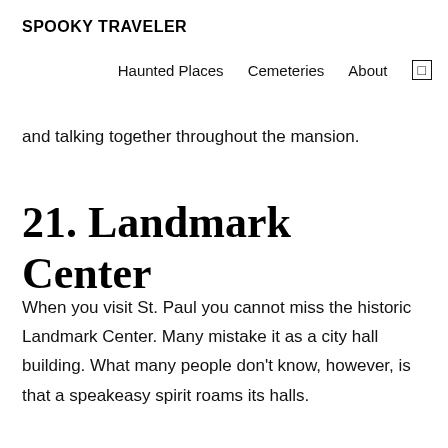SPOOKY TRAVELER
Haunted Places   Cemeteries   About   []
and talking together throughout the mansion.
21. Landmark Center
When you visit St. Paul you cannot miss the historic Landmark Center. Many mistake it as a city hall building. What many people don't know, however, is that a speakeasy spirit roams its halls.